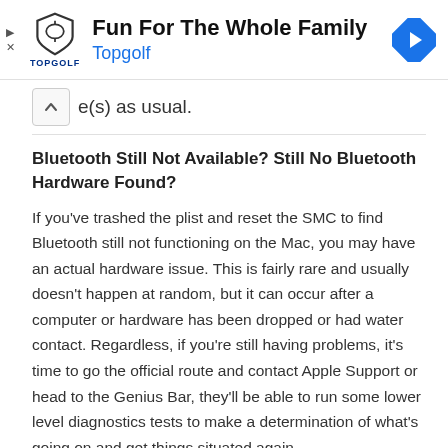[Figure (infographic): Advertisement banner for Topgolf with shield logo, title 'Fun For The Whole Family', subtitle 'Topgolf' in blue, and a blue navigation diamond icon on the right. Ad controls (play and close buttons) on the left.]
e(s) as usual.
Bluetooth Still Not Available? Still No Bluetooth Hardware Found?
If you've trashed the plist and reset the SMC to find Bluetooth still not functioning on the Mac, you may have an actual hardware issue. This is fairly rare and usually doesn't happen at random, but it can occur after a computer or hardware has been dropped or had water contact. Regardless, if you're still having problems, it's time to go the official route and contact Apple Support or head to the Genius Bar, they'll be able to run some lower level diagnostics tests to make a determination of what's going on and get things situated again.